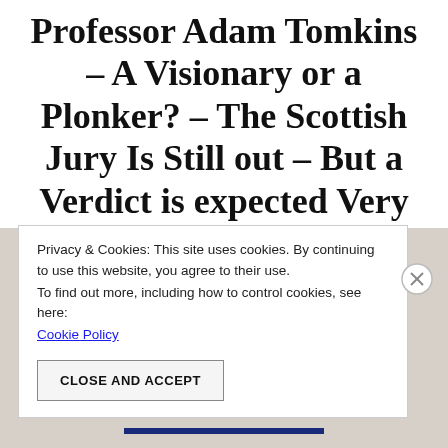Professor Adam Tomkins – A Visionary or a Plonker? – The Scottish Jury Is Still out – But a Verdict is expected Very Soon (Part 3)
By caltonjock   September 2, 2015   No Comments
Privacy & Cookies: This site uses cookies. By continuing to use this website, you agree to their use.
To find out more, including how to control cookies, see here:
Cookie Policy
CLOSE AND ACCEPT